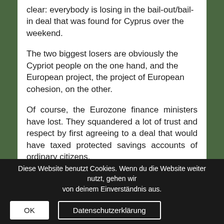clear: everybody is losing in the bail-out/bail-in deal that was found for Cyprus over the weekend.
The two biggest losers are obviously the Cypriot people on the one hand, and the European project, the project of European cohesion, on the other.
Of course, the Eurozone finance ministers have lost. They squandered a lot of trust and respect by first agreeing to a deal that would have taxed protected savings accounts of ordinary citizens.
The Cypriot government has lost by trying to hold on to a business model for their country, that has not been
Diese Website benutzt Cookies. Wenn du die Website weiter nutzt, gehen wir von deinem Einverständnis aus.